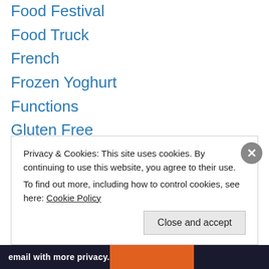Food Festival
Food Truck
French
Frozen Yoghurt
Functions
Gluten Free
Greek
Green Smoothie
Halal
Healthy Eating
High Tea
Hot Chocolate
HSP
Ice Cream / Gelato / Sorbet
Privacy & Cookies: This site uses cookies. By continuing to use this website, you agree to their use. To find out more, including how to control cookies, see here: Cookie Policy
Close and accept